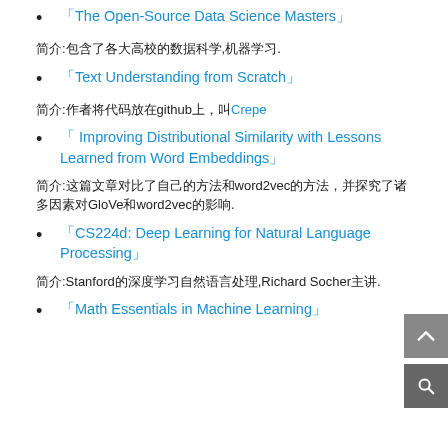「The Open-Source Data Science Masters」
简介:包含了各大高校的数据科学,机器学习.
「Text Understanding from Scratch」
简介:作者将代码放在github上，叫Crepe
「 Improving Distributional Similarity with Lessons Learned from Word Embeddings」
简介:这篇文章对比了自己的方法和word2vec的方法，并探究了诸多因素对GloVe和word2vec的影响.
「CS224d: Deep Learning for Natural Language Processing」
简介:Stanford的深度学习自然语言处理,Richard Socher主讲.
「Math Essentials in Machine Learning」